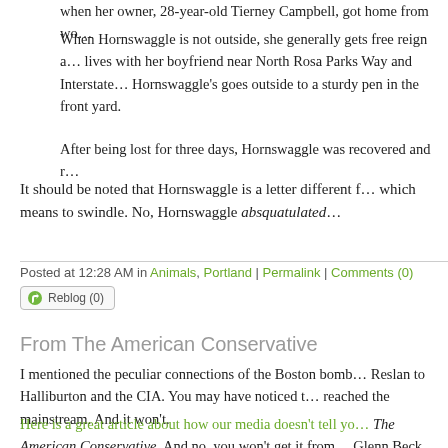when her owner, 28-year-old Tierney Campbell, got home from wo…
When Hornswaggle is not outside, she generally gets free reign a… lives with her boyfriend near North Rosa Parks Way and Interstate… Hornswaggle's goes outside to a sturdy pen in the front yard.
After being lost for three days, Hornswaggle was recovered and r…
It should be noted that Hornswaggle is a letter different f… which means to swindle. No, Hornswaggle absquatulated…
Posted at 12:28 AM in Animals, Portland | Permalink | Comments (0)
Reblog (0)
From The American Conservative
I mentioned the peculiar connections of the Boston bomb… Reslan to Halliburton and the CIA. You may have noticed t… reached the mainstream. And it won't.
Here is a great article about how our media doesn't tell yo… The American Conservative. And no, you won't get it from… Glenn Beck.
There are a number of points the article refers to that I…